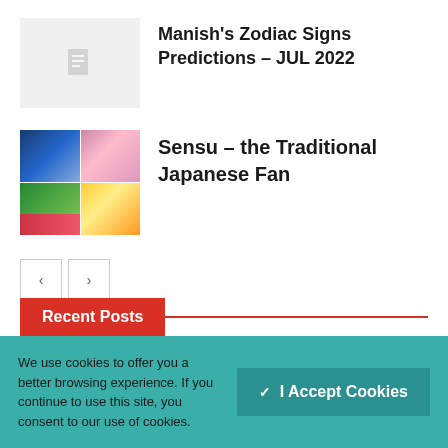[Figure (photo): Gray placeholder thumbnail with document icon]
Manish's Zodiac Signs Predictions – JUL 2022
[Figure (photo): Collage of colorful Japanese fans and traditional scenes in a 2x2 grid]
Sensu – the Traditional Japanese Fan
< >
Recent Posts
We use cookies to offer you a better browsing experience. If you continue to use this site, you consent to our use of cookies.
✓ I Accept Cookies